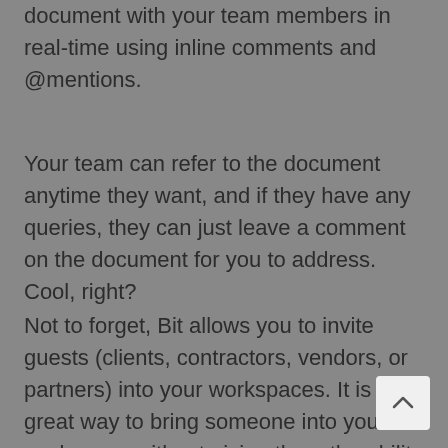document with your team members in real-time using inline comments and @mentions.
Your team can refer to the document anytime they want, and if they have any queries, they can just leave a comment on the document for you to address. Cool, right?
Not to forget, Bit allows you to invite guests (clients, contractors, vendors, or partners) into your workspaces. It is a great way to bring someone into your workspace without giving them the ability to edit any content or